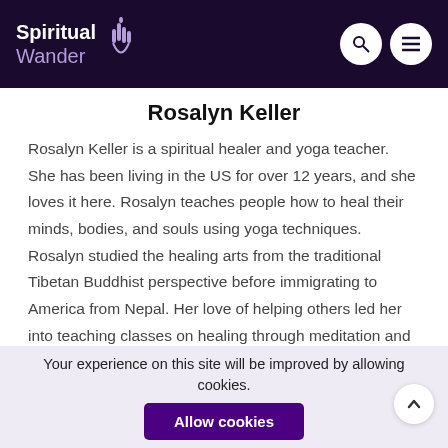Spiritual Wander
Rosalyn Keller
Rosalyn Keller is a spiritual healer and yoga teacher. She has been living in the US for over 12 years, and she loves it here. Rosalyn teaches people how to heal their minds, bodies, and souls using yoga techniques. Rosalyn studied the healing arts from the traditional Tibetan Buddhist perspective before immigrating to America from Nepal. Her love of helping others led her into teaching classes on healing through meditation and
Your experience on this site will be improved by allowing cookies.